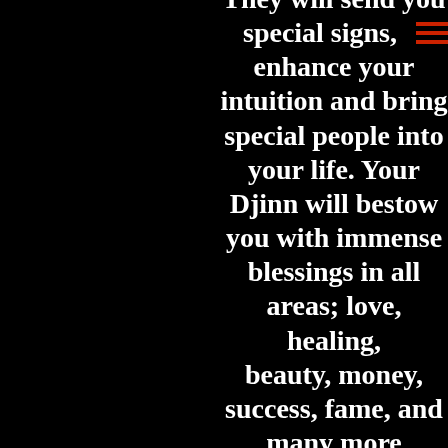They will send you special signs, enhance your intuition and bring special people into your life. Your Djinn will bestow you with immense blessings in all areas; love, healing, beauty, money, success, fame, and many more advantages that relate to your